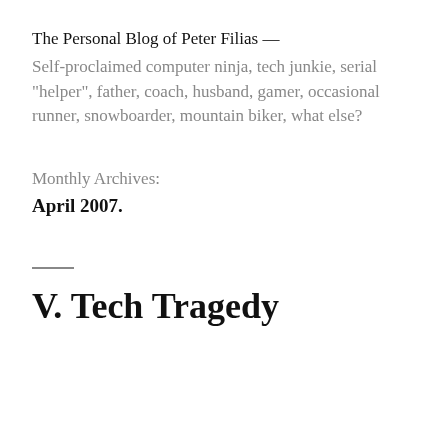The Personal Blog of Peter Filias —
Self-proclaimed computer ninja, tech junkie, serial "helper", father, coach, husband, gamer, occasional runner, snowboarder, mountain biker, what else?
Monthly Archives:
April 2007.
V. Tech Tragedy